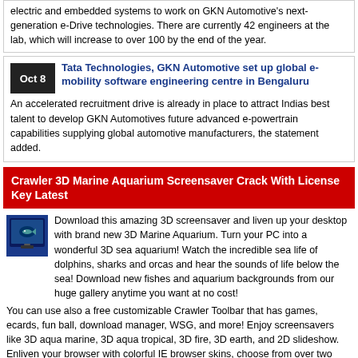electric and embedded systems to work on GKN Automotive's next-generation e-Drive technologies. There are currently 42 engineers at the lab, which will increase to over 100 by the end of the year.
Tata Technologies, GKN Automotive set up global e-mobility software engineering centre in Bengaluru
An accelerated recruitment drive is already in place to attract Indias best talent to develop GKN Automotives future advanced e-powertrain capabilities supplying global automotive manufacturers, the statement added.
Crawler 3D Marine Aquarium Screensaver Crack With License Key Latest
Download this amazing 3D screensaver and liven up your desktop with brand new 3D Marine Aquarium. Turn your PC into a wonderful 3D sea aquarium! Watch the incredible sea life of dolphins, sharks and orcas and hear the sounds of life below the sea! Download new fishes and aquarium backgrounds from our huge gallery anytime you want at no cost!
You can use also a free customizable Crawler Toolbar that has games, ecards, fun ball, download manager, WSG, and more! Enjoy screensavers like 3D aqua marine, 3D aqua tropical, 3D fire, 3D earth, and 2D slideshow. Enliven your browser with colorful IE browser skins, choose from over two thousand skins.
Download Crawler 3D Marine Aquarium Screensaver Crack